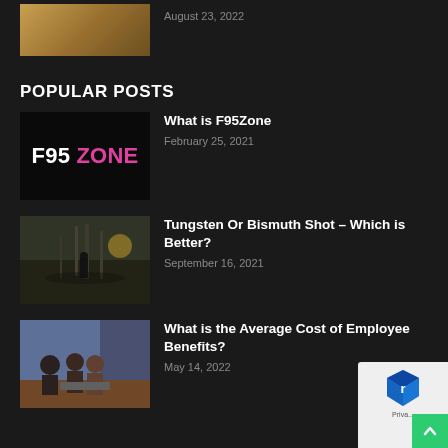[Figure (photo): Partial image of bread/baguettes on a wooden surface, cropped at top]
August 23, 2022
POPULAR POSTS
[Figure (logo): F95 ZONE logo: black background with white F95 and pink ZONE text]
What is F95Zone
February 25, 2021
[Figure (photo): Silhouette of a person walking in a field at sunset with bare trees in background]
Tungsten Or Bismuth Shot – Which is Better?
September 16, 2021
[Figure (photo): Group of people sitting at a table in a meeting room with laptops and tablets]
What is the Average Cost of Employee Benefits?
May 14, 2022